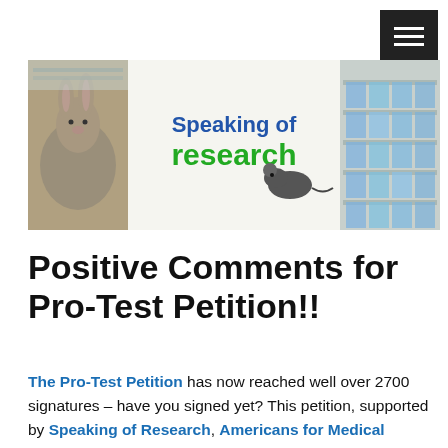[Figure (logo): Speaking of Research banner logo with rabbit, mouse, and lab shelving images, with text 'Speaking of research']
Positive Comments for Pro-Test Petition!!
The Pro-Test Petition has now reached well over 2700 signatures – have you signed yet? This petition, supported by Speaking of Research, Americans for Medical Progress, and UCLA Pro-Test, aims to show the world that the majority do support animal research – and moreover they dare